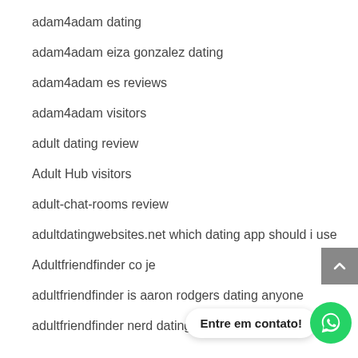adam4adam dating
adam4adam eiza gonzalez dating
adam4adam es reviews
adam4adam visitors
adult dating review
Adult Hub visitors
adult-chat-rooms review
adultdatingwebsites.net which dating app should i use
Adultfriendfinder co je
adultfriendfinder is aaron rodgers dating anyone
adultfriendfinder nerd dating app